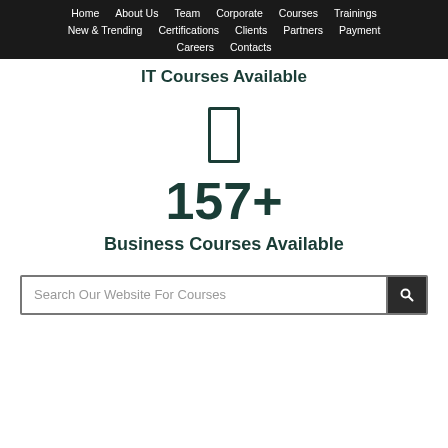Home | About Us | Team | Corporate | Courses | Trainings | New & Trending | Certifications | Clients | Partners | Payment | Careers | Contacts
IT Courses Available
[Figure (other): Rectangle/phone icon outline in dark teal]
157+
Business Courses Available
Search Our Website For Courses